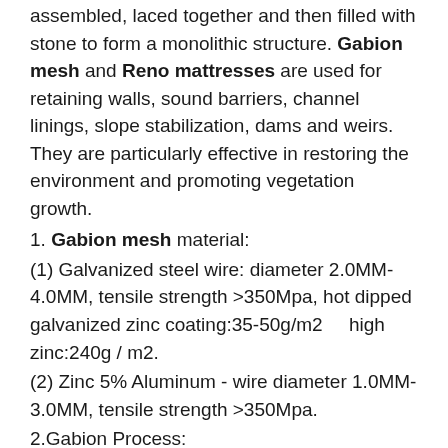assembled, laced together and then filled with stone to form a monolithic structure. Gabion mesh and Reno mattresses are used for retaining walls, sound barriers, channel linings, slope stabilization, dams and weirs. They are particularly effective in restoring the environment and promoting vegetation growth.
1. Gabion mesh material:
(1) Galvanized steel wire: diameter 2.0MM-4.0MM, tensile strength >350Mpa, hot dipped galvanized zinc coating:35-50g/m2    high zinc:240g /m2.
(2) Zinc 5% Aluminum - wire diameter 1.0MM-3.0MM, tensile strength >350Mpa.
2.Gabion Process:
wire drawing---galvanized--- galvanized after weaving or galvanized before weaving.
3.Gabion Box sizes: